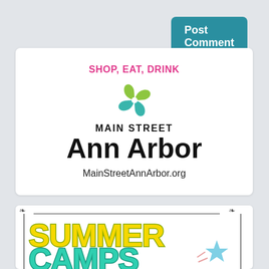[Figure (screenshot): Post Comment button — teal rounded rectangle with white bold text]
[Figure (logo): Main Street Ann Arbor logo with pink 'SHOP, EAT, DRINK' text, green/teal four-leaf clover icon, bold black 'MAIN STREET Ann Arbor' text, and website URL 'MainStreetAnnArbor.org']
[Figure (illustration): Summer Camps graphic with decorative border, yellow 'SUMMER' and teal 'CAMPS' lettering in bubbly bold font, and a star graphic]